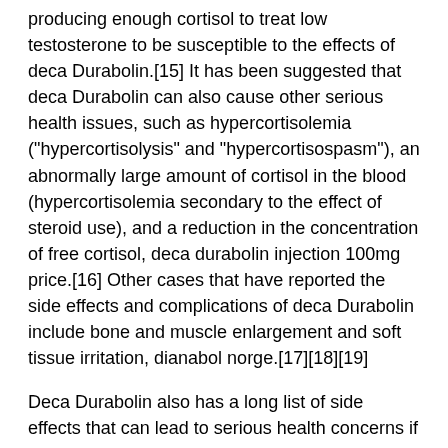producing enough cortisol to treat low testosterone to be susceptible to the effects of deca Durabolin.[15] It has been suggested that deca Durabolin can also cause other serious health issues, such as hypercortisolemia ("hypercortisolysis" and "hypercortisospasm"), an abnormally large amount of cortisol in the blood (hypercortisolemia secondary to the effect of steroid use), and a reduction in the concentration of free cortisol, deca durabolin injection 100mg price.[16] Other cases that have reported the side effects and complications of deca Durabolin include bone and muscle enlargement and soft tissue irritation, dianabol norge.[17][18][19]
Deca Durabolin also has a long list of side effects that can lead to serious health concerns if taken long-term, such as an enlarged kidney, low sperm count, excessive formation and death of the adrenal gland.